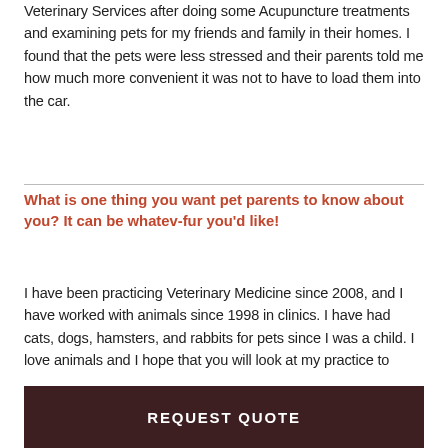Veterinary Services after doing some Acupuncture treatments and examining pets for my friends and family in their homes. I found that the pets were less stressed and their parents told me how much more convenient it was not to have to load them into the car.
What is one thing you want pet parents to know about you? It can be whatev-fur you'd like!
I have been practicing Veterinary Medicine since 2008, and I have worked with animals since 1998 in clinics. I have had cats, dogs, hamsters, and rabbits for pets since I was a child. I love animals and I hope that you will look at my practice to
REQUEST QUOTE